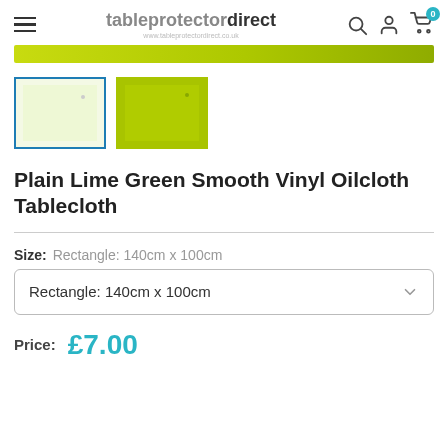tableprotectordirect www.tableprotectordirect.co.uk
[Figure (illustration): Lime green horizontal banner bar]
[Figure (photo): Two thumbnail images of lime green tablecloth — first with light/pale green on white background with blue border (selected), second showing solid lime green color]
Plain Lime Green Smooth Vinyl Oilcloth Tablecloth
Size: Rectangle: 140cm x 100cm
Rectangle: 140cm x 100cm
Price: £7.00